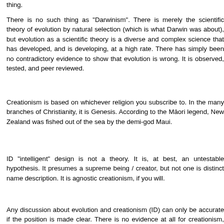thing.
There is no such thing as "Darwinism". There is merely the scientific theory of evolution by natural selection (which is what Darwin was about), but evolution as a scientific theory is a diverse and complex science that has developed, and is developing, at a high rate. There has simply been no contradictory evidence to show that evolution is wrong. It is observed, tested, and peer reviewed.
Creationism is based on whichever religion you subscribe to. In the many branches of Christianity, it is Genesis. According to the Māori legend, New Zealand was fished out of the sea by the demi-god Maui.
ID "intelligent" design is not a theory. It is, at best, an untestable hypothesis. It presumes a supreme being / creator, but not one is distinct name description. It is agnostic creationism, if you will.
Any discussion about evolution and creationism (ID) can only be accurate if the position is made clear. There is no evidence at all for creationism, and there is overwhelming